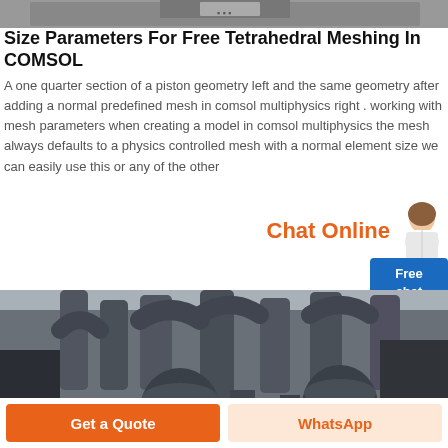[Figure (photo): Top portion of a piston geometry / COMSOL mesh rendering, partially cropped at the top of the page]
Size Parameters For Free Tetrahedral Meshing In COMSOL
A one quarter section of a piston geometry left and the same geometry after adding a normal predefined mesh in comsol multiphysics right . working with mesh parameters when creating a model in comsol multiphysics the mesh always defaults to a physics controlled mesh with a normal element size we can easily use this or any of the other
Chat Online
[Figure (photo): Industrial plant with large grey pipes, cyclone separators, and heavy machinery equipment outdoors]
Get a Quote
WhatsApp